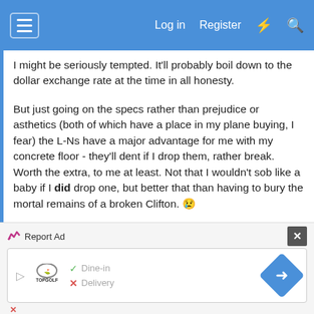Log in  Register
I might be seriously tempted. It'll probably boil down to the dollar exchange rate at the time in all honesty.

But just going on the specs rather than prejudice or asthetics (both of which have a place in my plane buying, I fear) the L-Ns have a major advantage for me with my concrete floor - they'll dent if I drop them, rather break. Worth the extra, to me at least. Not that I wouldn't sob like a baby if I did drop one, but better that than having to bury the mortal remains of a broken Clifton. 😢

Cheers, Alf
[Figure (screenshot): Advertisement banner for Topgolf showing Dine-in and Delivery options with a blue diamond arrow button]